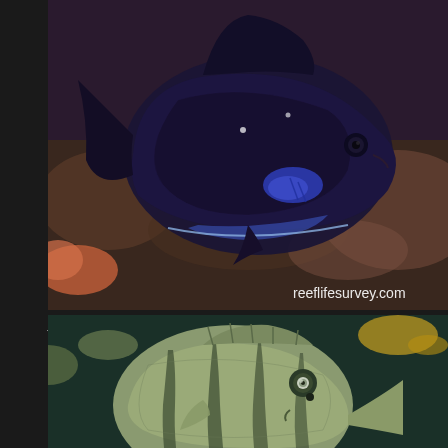[Figure (photo): Underwater photograph of Abudefduf luridus (Canary Damsel), a dark navy/black fish with a small blue patch near the pectoral fin, photographed against a rocky reef background. Watermark reads reeflifesurvey.com.]
Abudefduf luridus (Canary Damsel), freq: 1.59%
[Figure (photo): Underwater photograph of a juvenile fish (likely a damselfish or similar species) with vertical dark stripes on a greenish-grey body, photographed in an aquarium or reef environment with other fish visible in background.]